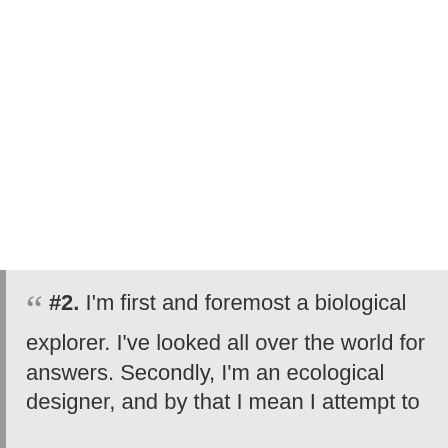#2. I'm first and foremost a biological explorer. I've looked all over the world for answers. Secondly, I'm an ecological designer, and by that I mean I attempt to